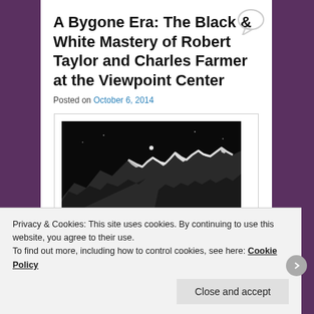A Bygone Era: The Black & White Mastery of Robert Taylor and Charles Farmer at the Viewpoint Center
Posted on October 6, 2014
[Figure (photo): Black and white photograph of snow-capped mountain range against a dark sky, with a small bright dot visible above the peaks (possibly the moon or a star).]
Two living legends of the rapidly diminishing black and
Privacy & Cookies: This site uses cookies. By continuing to use this website, you agree to their use.
To find out more, including how to control cookies, see here: Cookie Policy
Close and accept